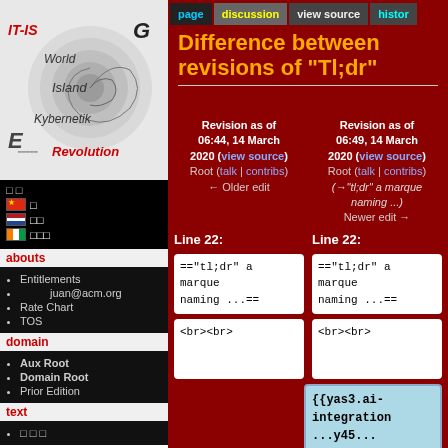[Figure (logo): IT-IS World Island Kybernetik E Revolution spiral logo with letter G]
🇨🇳 (Chinese flag with text)
🇳🇱 (Dutch flag with text)
🇨🇮 (flag with text)
abouts
Entitlements
juan@acm.org
Rate Chart
TOS
domain
Aux Root
Domain Root
Prior Edition
text
page | discussion | view source | history
Difference between revisions of "Tl;dr"
Revision as of 06:44, 14 March 2020 (view source) Root (talk | contribs) ← Older edit
Revision as of 06:49, 14 March 2020 (view source) Root (talk | contribs) (→"tl;dr" a marque naming ...) Newer edit →
Line 22:
Line 22:
=="tl;dr" a marque naming ...==
=="tl;dr" a marque naming ...==
<br><br>
<br><br>
{{yas3.ai-integration...y45...